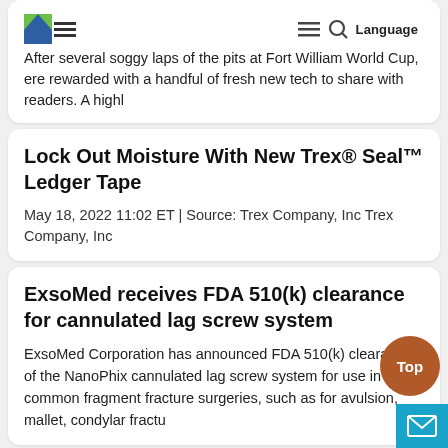After several soggy laps of the pits at Fort William World Cup, ere rewarded with a handful of fresh new tech to share with readers. A highl
Lock Out Moisture With New Trex® Seal™ Ledger Tape
May 18, 2022 11:02 ET | Source: Trex Company, Inc Trex Company, Inc
ExsoMed receives FDA 510(k) clearance for cannulated lag screw system
ExsoMed Corporation has announced FDA 510(k) clearance of the NanoPhix cannulated lag screw system for use in common fragment fracture surgeries, such as for avulsion, mallet, condylar fractu